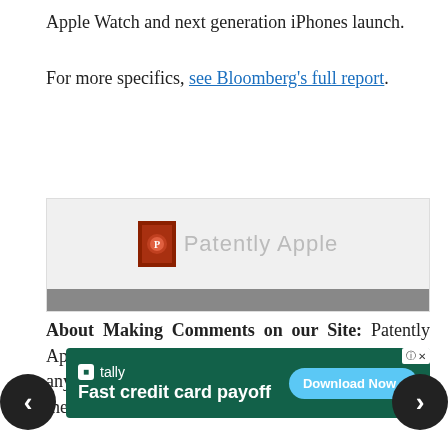Apple Watch and next generation iPhones launch.
For more specifics, see Bloomberg's full report.
[Figure (logo): Patently Apple logo with red icon and grey text on light grey background, followed by a dark grey bar]
About Making Comments on our Site: Patently Apple reserves the right to post, dismiss or edit any comments. Comments are reviewed daily from Monday through Friday and weekend.
[Figure (screenshot): Tally advertisement: Fast credit card payoff, Download Now button, on dark green background with close button]